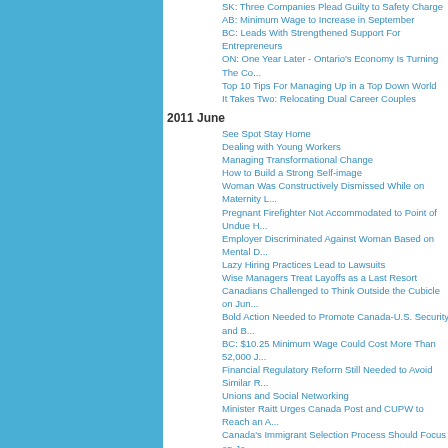SK: Three Companies Plead Guilty to Safety Charge
AB: Minimum Wage to Increase in September
BC: Leads With Strengthened Support For Entrepreneurs
ON: One Year Later - Ontario's Economy Is Turning The Corner
Top 10 Tips For Managing Up in a Top Down World
It Takes Two: Relocating Dual Career Couples
2011 June
See Spot Stay Home
Dealing with Young Workers
Managing Transformational Change
How to Build a Strong Self-image
Woman Was Constructively Dismissed While on Maternity L...
Pregnant Firefighter Not Accommodated to Point of Undue H...
Employer Discriminated Against Woman Based on Mental D...
Lazy Hiring Practices Lead to Lawsuits
Wise Managers Treat Layoffs as a Last Resort
Canadians Challenged to Think Outside the Cubicle on Jun...
Bold Action Needed to Promote Canada-U.S. Security and B...
BC: $10.25 Minimum Wage Could Cost More Than 52,000 J...
Financial Regulatory Reform Still Needed to Avoid Similar R...
Unions and Social Networking
Minister Raitt Urges Canada Post and CUPW to Reach an A...
Canada's Immigrant Selection Process Should Focus on Jo...
Good Jobs For All
Harper Government Is Keeping Taxes Low for Canada's Job...
Working to End Workplace Deaths and Injury
ON: NCC sets New Standard for Universal Accessibility
MB: Wage Increase Strengthens Manitobans' Purchasing P...
NS: Premier Announces Creation of New Economic Develo...
NB: April Unemployment up to 10 Percent
AB: Employment and Training Services Help Residents Find...
QC: Minimum Wage Increases
Foreign Credentials: Speeding up the Process
Want to Refresh Employees? Give Extra Time Off
2011 May
What the Heck
Creating Positive Workplace Attitudes
Rejection Letters: Thanks but no Thanks
Job Sharing: How to Make it Work
Broadcasting Executive Awarded More than $360,000
Post-Age 65 Employment Benefits Limitations Deemed Just...
Assistant Manager Not Discriminated Against Based on S...